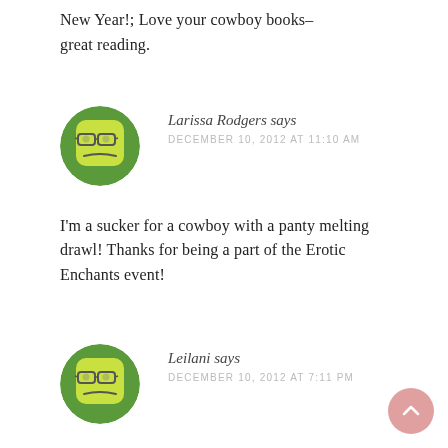New Year!; Love your cowboy books–great reading.
[Figure (illustration): Angry cartoon face avatar with glasses, yellow-green square face with rounded corners on a green circular background — user avatar for Larissa Rodgers]
Larissa Rodgers says
DECEMBER 10, 2012 AT 11:10 AM
I'm a sucker for a cowboy with a panty melting drawl! Thanks for being a part of the Erotic Enchants event!
[Figure (illustration): Angry cartoon face avatar with glasses, yellow-green square face with rounded corners on a green circular background — user avatar for Leilani]
Leilani says
DECEMBER 10, 2012 AT 7:11 PM